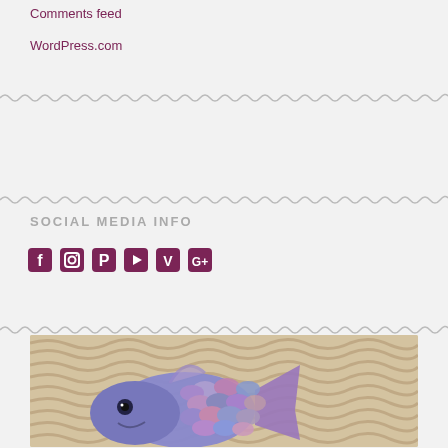Comments feed
WordPress.com
SOCIAL MEDIA INFO
[Figure (infographic): Social media icons: Facebook, Instagram, Pinterest, YouTube, Vimeo, Google+]
[Figure (photo): Photo of a decorative purple fish sculpture made with shiny scales (foil/coins) on a zebra-print background]